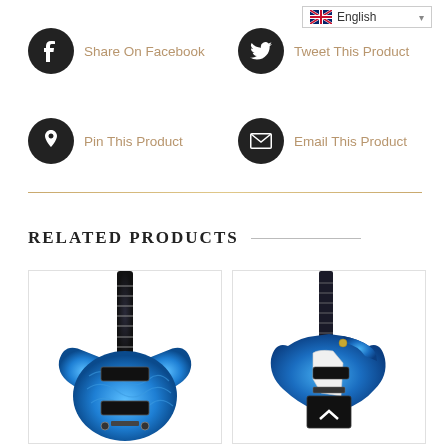English (language selector)
Share On Facebook
Tweet This Product
Pin This Product
Email This Product
Related Products
[Figure (photo): Blue SG-style electric guitar with flame maple top]
[Figure (photo): Blue Les Paul-style electric guitar with white pickguard]